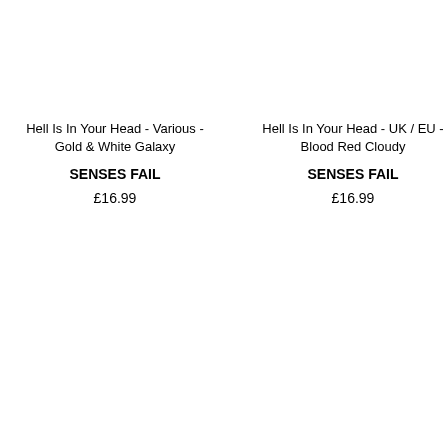Hell Is In Your Head - Various - Gold & White Galaxy
SENSES FAIL
£16.99
Hell Is In Your Head  - UK / EU - Blood Red Cloudy
SENSES FAIL
£16.99